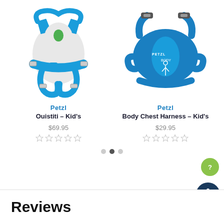[Figure (photo): Product photo of Petzl Ouistiti Kid's harness in blue and white]
Petzl
Ouistiti – Kid's
$69.95
[Figure (photo): Product photo of Petzl Body Chest Harness Kid's in blue]
Petzl
Body Chest Harness – Kid's
$29.95
Reviews